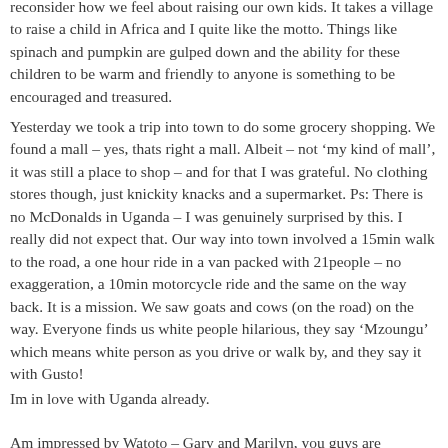reconsider how we feel about raising our own kids. It takes a village to raise a child in Africa and I quite like the motto. Things like spinach and pumpkin are gulped down and the ability for these children to be warm and friendly to anyone is something to be encouraged and treasured.
Yesterday we took a trip into town to do some grocery shopping. We found a mall – yes, thats right a mall. Albeit – not ‘my kind of mall’, it was still a place to shop – and for that I was grateful. No clothing stores though, just knickity knacks and a supermarket. Ps: There is no McDonalds in Uganda – I was genuinely surprised by this. I really did not expect that. Our way into town involved a 15min walk to the road, a one hour ride in a van packed with 21people – no exaggeration, a 10min motorcycle ride and the same on the way back. It is a mission. We saw goats and cows (on the road) on the way. Everyone finds us white people hilarious, they say ‘Mzoungu’ which means white person as you drive or walk by, and they say it with Gusto!
Im in love with Uganda already.
Am impressed by Watoto – Gary and Marilyn, you guys are